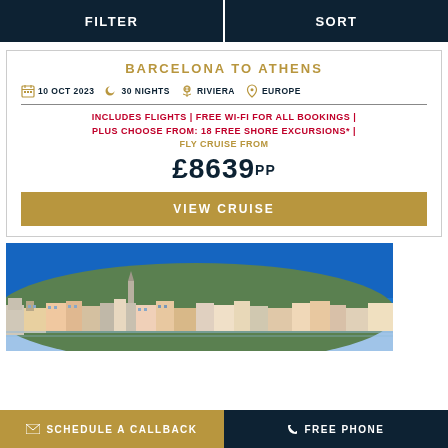FILTER | SORT
BARCELONA TO ATHENS
10 OCT 2023  30 NIGHTS  RIVIERA  EUROPE
INCLUDES FLIGHTS | FREE WI-FI FOR ALL BOOKINGS | PLUS CHOOSE FROM: 18 FREE SHORE EXCURSIONS* | FLY CRUISE FROM £8639PP
VIEW CRUISE
[Figure (photo): Coastal European city with colourful buildings on a hillside]
SCHEDULE A CALLBACK  FREE PHONE